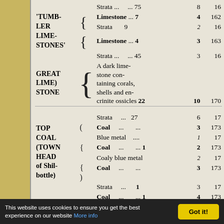| Formation | Brace | Description | Ft | In | Total |
| --- | --- | --- | --- | --- | --- |
|  |  | Strata ... | 75 | 8 | 16... |
| 'TUMBLER LIMESTONES' | { | Limestone ... | 7 | 4 | 162... |
|  |  | Strata | 9 | 2 | 16... |
|  | { | Limestone ... | 4 | 3 | 163... |
|  |  | Strata ... | 45 | 3 | 16... |
| GREAT LIME) STONE | { | A dark limestone containing corals, shells and encrinite ossicles | 22 | 10 | 170... |
|  |  | Strata ... | 27 | 6 | 17... |
| TOP COAL (TOWN HEAD of Shilbottle) | { | Coal ... |  | 3 | 173... |
|  |  | Blue metal |  | 1 | 17... |
|  | { | Coal ... | 1 | 2 | 173... |
|  |  | Coaly blue metal |  | 2 | 17... |
|  | { | Coal ... |  | 3 | 173... |
|  |  | Strata ... | 1 | 3 | 17... |
|  |  | Coal ... | 1 | 4 | 173... |
|  |  | Blue metal |  |  | 17... |
This website uses cookies to ensure you get the best experience on our website
Got it!